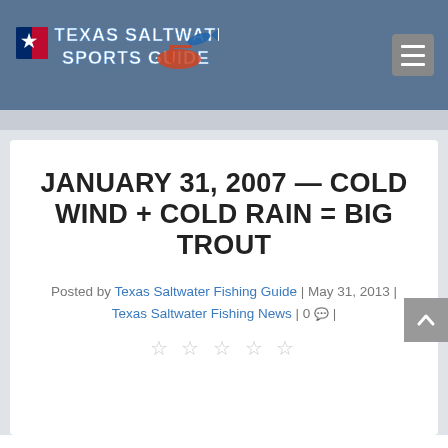[Figure (logo): Texas Saltwater Sports Guide logo with Texas flag icon, boat, and fish graphics on blue header background]
JANUARY 31, 2007 — COLD WIND + COLD RAIN = BIG TROUT
Posted by Texas Saltwater Fishing Guide | May 31, 2013 | Texas Saltwater Fishing News | 0 |
☆ ☆ ☆ ☆ ☆